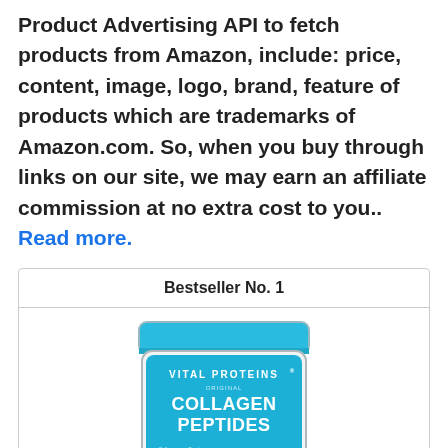Product Advertising API to fetch products from Amazon, include: price, content, image, logo, brand, feature of products which are trademarks of Amazon.com. So, when you buy through links on our site, we may earn an affiliate commission at no extra cost to you.. Read more.
Bestseller No. 1
[Figure (photo): Vital Proteins Original Collagen Peptides product tub with blue lid and blue label]